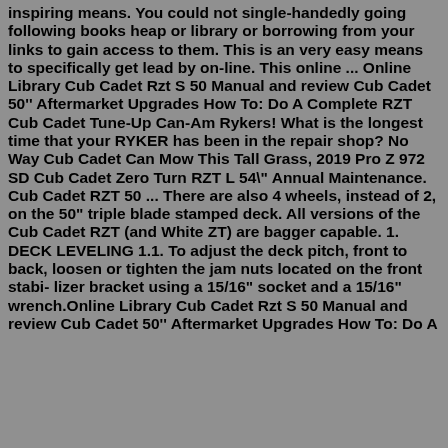inspiring means. You could not single-handedly going following books heap or library or borrowing from your links to gain access to them. This is an very easy means to specifically get lead by on-line. This online ... Online Library Cub Cadet Rzt S 50 Manual and review Cub Cadet 50'' Aftermarket Upgrades How To: Do A Complete RZT Cub Cadet Tune-Up Can-Am Rykers! What is the longest time that your RYKER has been in the repair shop? No Way Cub Cadet Can Mow This Tall Grass, 2019 Pro Z 972 SD Cub Cadet Zero Turn RZT L 54" Annual Maintenance. Cub Cadet RZT 50 ... There are also 4 wheels, instead of 2, on the 50" triple blade stamped deck. All versions of the Cub Cadet RZT (and White ZT) are bagger capable. 1. DECK LEVELING 1.1. To adjust the deck pitch, front to back, loosen or tighten the jam nuts located on the front stabi- lizer bracket using a 15/16" socket and a 15/16" wrench.Online Library Cub Cadet Rzt S 50 Manual and review Cub Cadet 50'' Aftermarket Upgrades How To: Do A